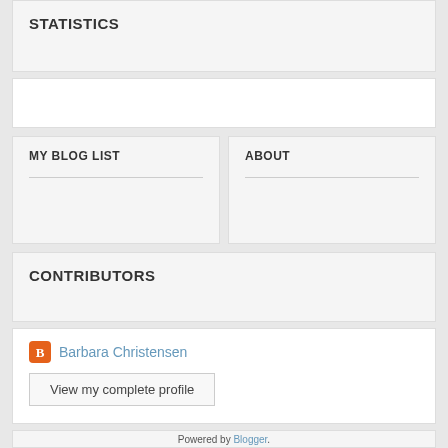STATISTICS
MY BLOG LIST
ABOUT
CONTRIBUTORS
Barbara Christensen
View my complete profile
Powered by Blogger.